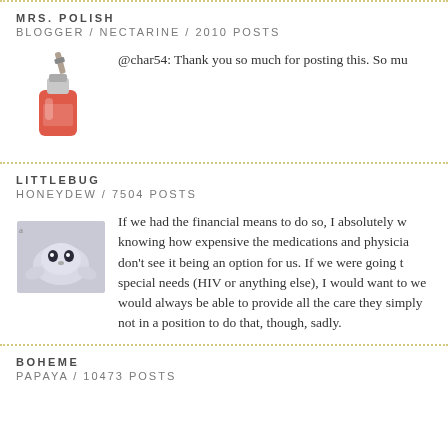MRS. POLISH
BLOGGER / NECTARINE / 2010 POSTS
@char54: Thank you so much for posting this. So mu
LITTLEBUG
HONEYDEW / 7504 POSTS
If we had the financial means to do so, I absolutely w knowing how expensive the medications and physicia don't see it being an option for us. If we were going t special needs (HIV or anything else), I would want to we would always be able to provide all the care they simply not in a position to do that, though, sadly.
BOHEME
PAPAYA / 10473 POSTS